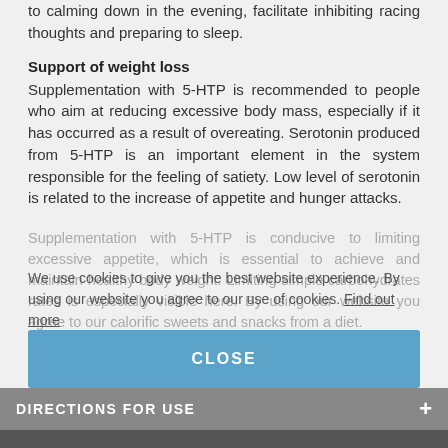to calming down in the evening, facilitate inhibiting racing thoughts and preparing to sleep.
Support of weight loss
Supplementation with 5-HTP is recommended to people who aim at reducing excessive body mass, especially if it has occurred as a result of overeating. Serotonin produced from 5-HTP is an important element in the system responsible for the feeling of satiety. Low level of serotonin is related to the increase of appetite and hunger attacks.
Supplementation with 5-HTP is conducive to limiting excessive appetite, which is essential to achieve and maintain healthy body weight. Limiting simple carbohydrates rates is especially visible here. By using our website you agree to our calorific sweets and snacks from a diet.
We use cookies to give you the best website experience. By using our website you agree to our use of cookies. Find out more
CLOSE
DIRECTIONS FOR USE